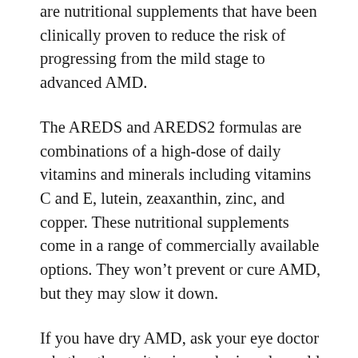are nutritional supplements that have been clinically proven to reduce the risk of progressing from the mild stage to advanced AMD.
The AREDS and AREDS2 formulas are combinations of a high-dose of daily vitamins and minerals including vitamins C and E, lutein, zeaxanthin, zinc, and copper. These nutritional supplements come in a range of commercially available options. They won’t prevent or cure AMD, but they may slow it down.
If you have dry AMD, ask your eye doctor whether these vitamins and minerals could benefit you.
Wet AMD Treatment
Wet AMD occurs when a protein called vascular endothelial growth factor (VEGF) causes an overabundance of leaky new blood vessels to grow in the retina. The body releases the VEGF proteins to combat the impact of AMD, but these new